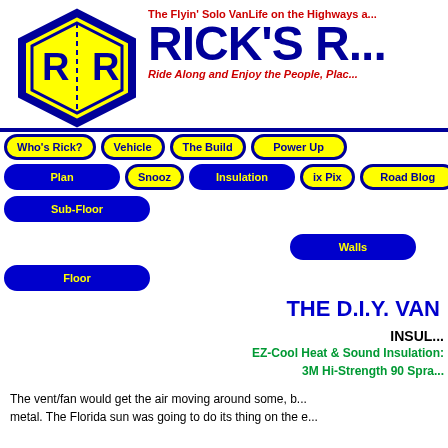[Figure (logo): Rick's Roads logo: yellow hexagon with blue R|R letters and dashed vertical line]
The Flyin' Solo VanLife on the Highways a... RICK'S R... Ride Along and Enjoy the People, Plac...
Who's Rick?
Vehicle
The Build
Power Up
Plan
Snooz
Insulation
ix Pix
Road Blog
Sub-Floor
Walls
Floor
THE D.I.Y. VAN
INSUL... EZ-Cool Heat & Sound Insulation: 3M Hi-Strength 90 Spra...
The vent/fan would get the air moving around some, b... metal. The Florida sun was going to do its thing on the e...